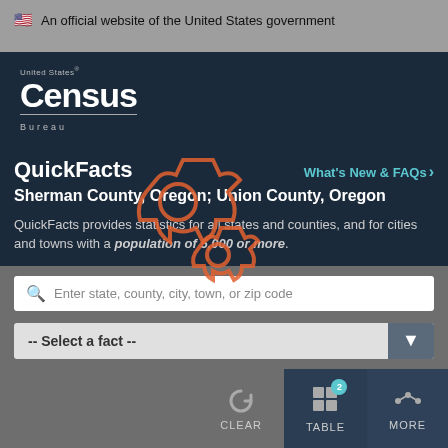🇺🇸 An official website of the United States government
[Figure (logo): United States Census Bureau logo in white text on navy background]
QuickFacts
What's New & FAQs >
Sherman County, Oregon; Union County, Oregon
QuickFacts provides statistics for all states and counties, and for cities and towns with a population of 5,000 or more.
Enter state, county, city, town, or zip code
-- Select a fact --
CLEAR
TABLE
MORE